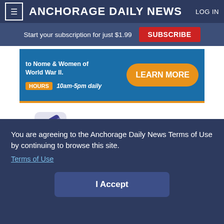Anchorage Daily News
Start your subscription for just $1.99  SUBSCRIBE
[Figure (screenshot): Advertisement banner for a museum about Nome and Women of World War II. Blue background with orange Learn More button and Hours badge showing 10am-5pm daily.]
[Figure (logo): MyAlaskaTix logo with ticket icon and stylized text]
You are agreeing to the Anchorage Daily News Terms of Use by continuing to browse this site.
Terms of Use
I Accept